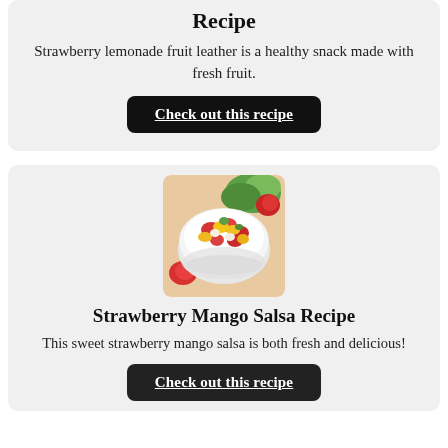Recipe
Strawberry lemonade fruit leather is a healthy snack made with fresh fruit.
Check out this recipe
[Figure (photo): A white bowl filled with strawberry mango salsa, with chunks of strawberry, mango, and garnish visible, placed on a light surface with strawberries nearby.]
Strawberry Mango Salsa Recipe
This sweet strawberry mango salsa is both fresh and delicious!
Check out this recipe